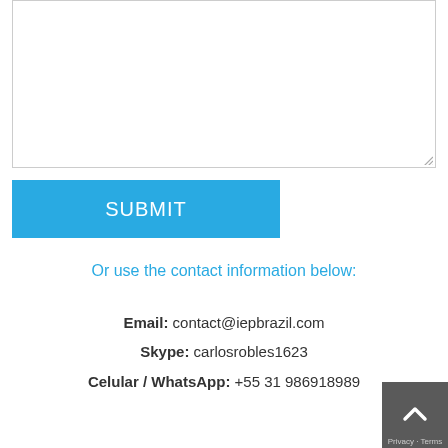[Figure (other): Large text input textarea with resize handle in bottom-right corner]
SUBMIT
Or use the contact information below:
Email: contact@iepbrazil.com
Skype: carlosrobles1623
Celular / WhatsApp: +55 31 986918989
[Figure (other): Back to top button with upward arrow chevron icon, dark grey background]